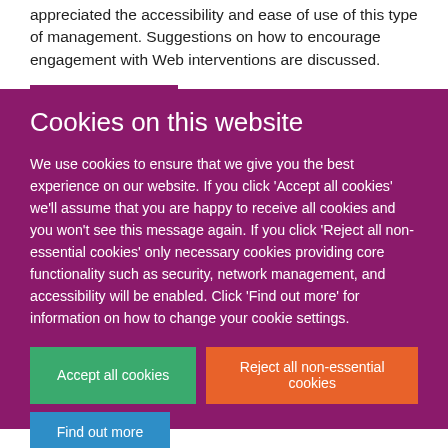appreciated the accessibility and ease of use of this type of management. Suggestions on how to encourage engagement with Web interventions are discussed.
Cookies on this website
We use cookies to ensure that we give you the best experience on our website. If you click 'Accept all cookies' we'll assume that you are happy to receive all cookies and you won't see this message again. If you click 'Reject all non-essential cookies' only necessary cookies providing core functionality such as security, network management, and accessibility will be enabled. Click 'Find out more' for information on how to change your cookie settings.